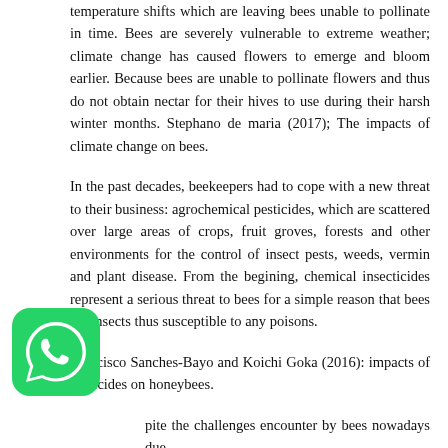temperature shifts which are leaving bees unable to pollinate in time. Bees are severely vulnerable to extreme weather; climate change has caused flowers to emerge and bloom earlier. Because bees are unable to pollinate flowers and thus do not obtain nectar for their hives to use during their harsh winter months. Stephano de maria (2017); The impacts of climate change on bees.
In the past decades, beekeepers had to cope with a new threat to their business: agrochemical pesticides, which are scattered over large areas of crops, fruit groves, forests and other environments for the control of insect pests, weeds, vermin and plant disease. From the begining, chemical insecticides represent a serious threat to bees for a simple reason that bees are insects thus susceptible to any poisons.
Francisco Sanches-Bayo and Koichi Goka (2016): impacts of pesticides on honeybees.
[Figure (logo): WhatsApp green logo icon]
pite the challenges encounter by bees nowadays due extreme climatic conditions and excessive use of chemical insecticides, the good news remains that this